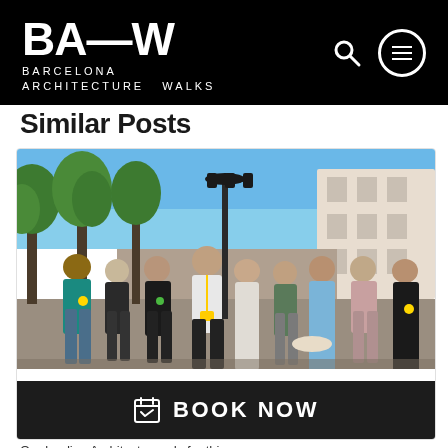BA—W Barcelona Architecture Walks
Similar Posts
[Figure (photo): Group of tourists on an architecture walk in Barcelona, standing on a sunny street with trees, ornate lamp posts, and the facade of Casa Mila (La Pedrera) visible in the background. The guide and visitors are wearing lanyards with yellow badges.]
BOOK NOW
Our leading Architects ready for this